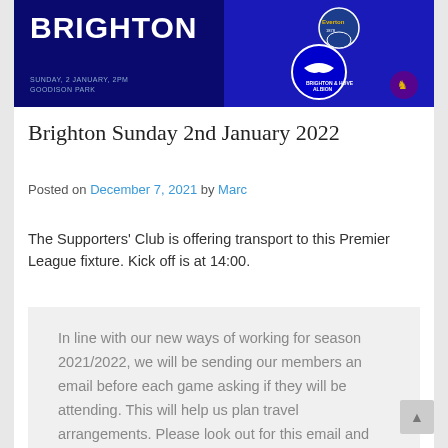[Figure (illustration): Dark blue promotional banner for Everton vs Brighton Premier League match, showing BRIGHTON text in white on the left, Everton and Brighton & Hove Albion club crests, date SUNDAY, 2 JANUARY, 2PM GOODISON PARK, and Premier League logo]
Brighton Sunday 2nd January 2022
Posted on December 7, 2021 by Marc
The Supporters' Club is offering transport to this Premier League fixture. Kick off is at 14:00.
In line with our new ways of working for season 2021/2022, we will be sending our members an email before each game asking if they will be attending. This will help us plan travel arrangements. Please look out for this email and reply as soon as you can. If you haven't had the email, please check your